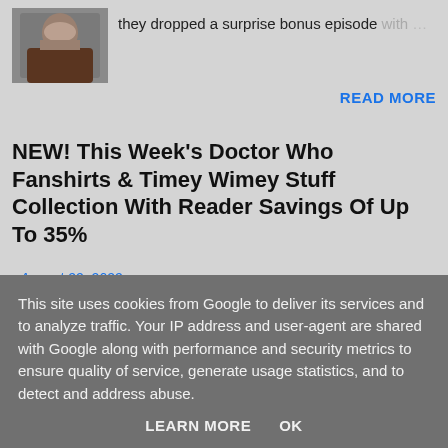[Figure (photo): Small thumbnail photo of a bearded man in a brown jacket]
they dropped a surprise bonus episode with …
READ MORE
NEW! This Week's Doctor Who Fanshirts & Timey Wimey Stuff Collection With Reader Savings Of Up To 35%
- August 22, 2022
[Figure (photo): Small thumbnail image with dark blue and orange tones showing silhouetted figures]
Each week we join forces with our friends at TeePublic to bring you a collection of the
This site uses cookies from Google to deliver its services and to analyze traffic. Your IP address and user-agent are shared with Google along with performance and security metrics to ensure quality of service, generate usage statistics, and to detect and address abuse.
LEARN MORE    OK